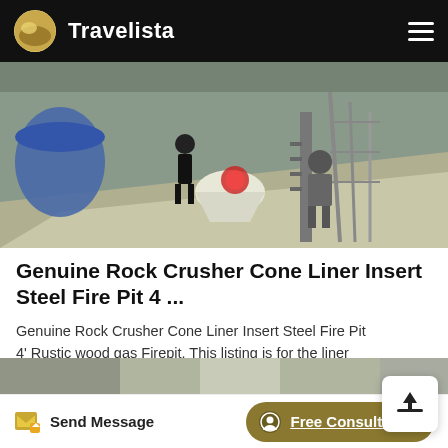Travelista
[Figure (photo): Industrial setting showing workers/people near large machinery including what appears to be a cone crusher, with concrete ramps, metal structures, and industrial equipment visible.]
Genuine Rock Crusher Cone Liner Insert Steel Fire Pit 4 ...
Genuine Rock Crusher Cone Liner Insert Steel Fire Pit 4' Rustic wood gas Firepit. This listing is for the liner from the Cone Crusher insert (shown right side up in the 2nd picture and upside down on the pallet in the 3rd picture)
[Figure (photo): Partially visible bottom strip showing another photo below the main content area.]
Send Message   Free Consultation